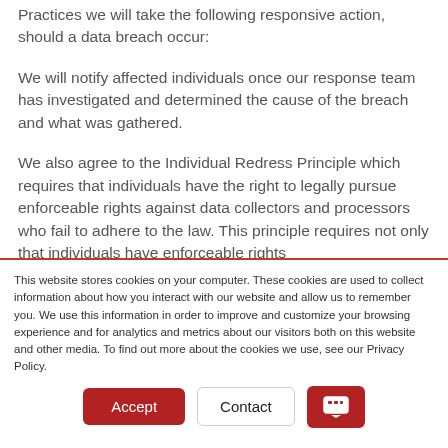Practices we will take the following responsive action, should a data breach occur:
We will notify affected individuals once our response team has investigated and determined the cause of the breach and what was gathered.
We also agree to the Individual Redress Principle which requires that individuals have the right to legally pursue enforceable rights against data collectors and processors who fail to adhere to the law. This principle requires not only that individuals have enforceable rights
This website stores cookies on your computer. These cookies are used to collect information about how you interact with our website and allow us to remember you. We use this information in order to improve and customize your browsing experience and for analytics and metrics about our visitors both on this website and other media. To find out more about the cookies we use, see our Privacy Policy.